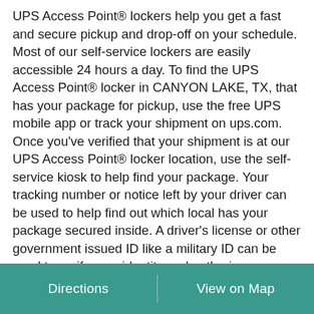UPS Access Point® lockers help you get a fast and secure pickup and drop-off on your schedule. Most of our self-service lockers are easily accessible 24 hours a day. To find the UPS Access Point® locker in CANYON LAKE, TX, that has your package for pickup, use the free UPS mobile app or track your shipment on ups.com. Once you've verified that your shipment is at our UPS Access Point® locker location, use the self-service kiosk to help find your package. Your tracking number or notice left by your driver can be used to help find out which local has your package secured inside. A driver's license or other government issued ID like a military ID can be used to verify your identity and authorize your package for pickup. Once verified, your locker door will open automatically. Do you need to send out a package? UPS Access Point lockers also accept outgoing packages with UPS labels attached. Just scan your label at the kiosk
Directions | View on Map